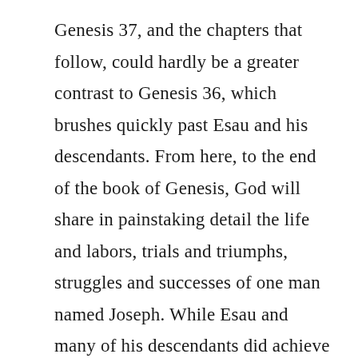Genesis 37, and the chapters that follow, could hardly be a greater contrast to Genesis 36, which brushes quickly past Esau and his descendants. From here, to the end of the book of Genesis, God will share in painstaking detail the life and labors, trials and triumphs, struggles and successes of one man named Joseph. While Esau and many of his descendants did achieve a certain kind of success in their day, God is not impressed with efforts that are at their core rejecting Him as Creator and Lord. On the other hand, God is